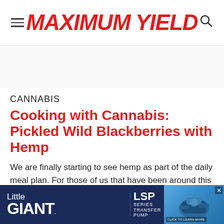MAXIMUM YIELD
CANNABIS
Cooking with Cannabis: Pickled Wild Blackberries with Hemp
We are finally starting to see hemp as part of the daily meal plan. For those of us that have been around this plant for
[Figure (screenshot): Little GIANT LSP SERIES TRANSFER PUMP advertisement banner with blue pump image on right side]